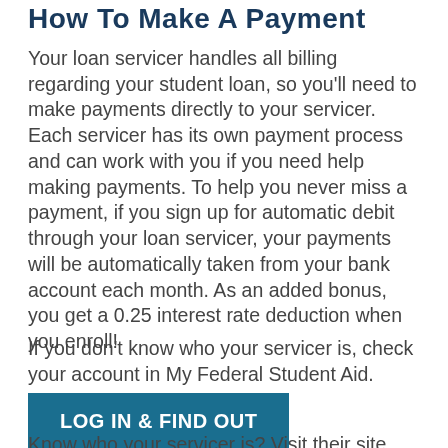How To Make A Payment
Your loan servicer handles all billing regarding your student loan, so you'll need to make payments directly to your servicer. Each servicer has its own payment process and can work with you if you need help making payments. To help you never miss a payment, if you sign up for automatic debit through your loan servicer, your payments will be automatically taken from your bank account each month. As an added bonus, you get a 0.25 interest rate deduction when you enroll!
If you don't know who your servicer is, check your account in My Federal Student Aid.
LOG IN & FIND OUT
Know who your servicer is? Visit their site